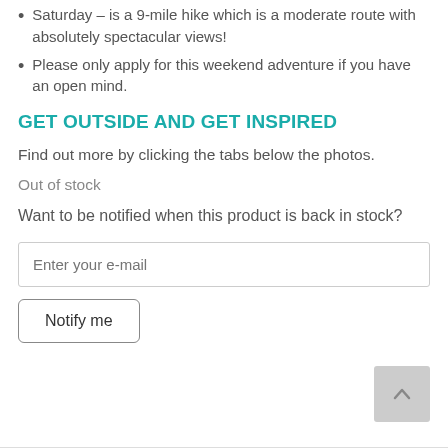Saturday – is a 9-mile hike which is a moderate route with absolutely spectacular views!
Please only apply for this weekend adventure if you have an open mind.
GET OUTSIDE AND GET INSPIRED
Find out more by clicking the tabs below the photos.
Out of stock
Want to be notified when this product is back in stock?